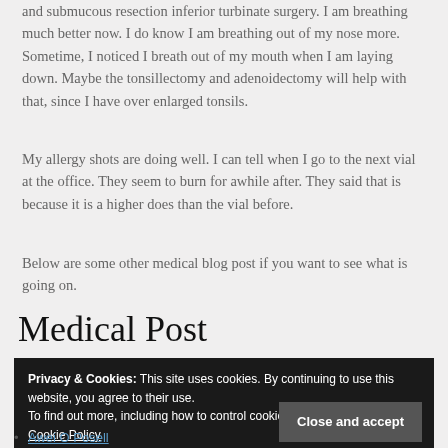and submucous resection inferior turbinate surgery. I am breathing much better now. I do know I am breathing out of my nose more. Sometime, I noticed I breath out of my mouth when I am laying down. Maybe the tonsillectomy and adenoidectomy will help with that, since I have over enlarged tonsils.
My allergy shots are doing well. I can tell when I go to the next vial at the office. They seem to burn for awhile after. They said that is because it is a higher does than the vial before.
Below are some other medical blog post if you want to see what is going on.
Medical Post
Privacy & Cookies: This site uses cookies. By continuing to use this website, you agree to their use.
To find out more, including how to control cookies, see here:
Cookie Policy
Close and accept
Awei O Posell